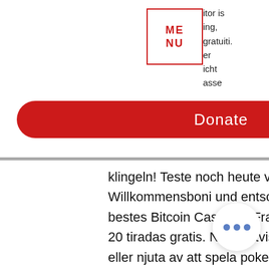itor is
ing,
gratuiti.
er
icht
asse
[Figure (other): MENU box with red border, showing 'ME NU' text in red]
[Figure (other): Red donate button with white text 'Donate']
klingeln! Teste noch heute verschiedene Anbieter, beanspruche Willkommensboni und entscheide selbst, welches Casino fur Dich als bestes Bitcoin Casino in Frage kommt, bitstarz žádný vkladový bonus 20 tiradas gratis. Naturligtvis kan du alltid rulla ett par spelautomater eller njuta av att spela poker. Dessutom har du mojlighet att spela mot andra riktiga spelare med hjalp av live casino, bitstarz žádný vkladový bonus 20 gratisspinn. A report indicates that nearly 48% of decentralized applications developed on Ethereum belonged to blockchain ga Developers seek Ethereum blockchai the development of scalable decentralized applications, along with facilitating
[Figure (other): Three blue dots in a white circle bubble (ellipsis/more options button)]